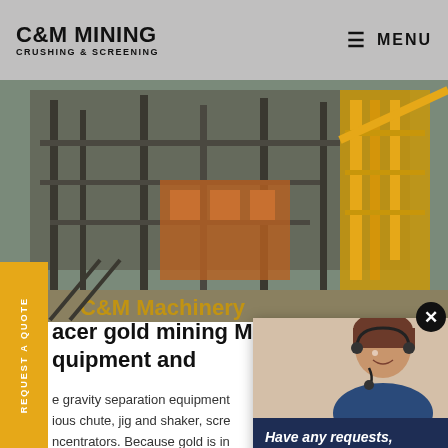C&M MINING CRUSHING & SCREENING | MENU
[Figure (photo): Industrial mining crushing and screening equipment facility with metal structures and yellow crane/conveyor in background]
Placer gold mining Mineral Processing Equipment and
The gravity separation equipment includes various chute, jig and shaker, screw concentrators. Because gold is in the placer gold ore, and the difference of gravity between gold and sandstone is obvious, it is an ideal and efficient extract gold from placer by gravity
[Figure (photo): Customer service representative woman with headset smiling, with 'Have any requests, click here.' text and Quotation button on dark navy background]